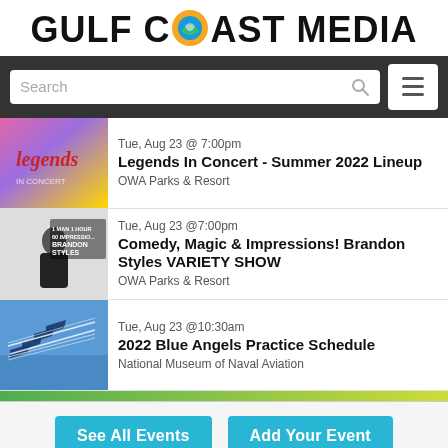GULF COAST MEDIA
[Figure (screenshot): Search bar with magnifying glass icon and hamburger menu button on dark background navigation bar]
[Figure (photo): Legends In Concert promotional image with colorful gradient background]
Tue, Aug 23 @ 7:00pm
Legends In Concert - Summer 2022 Lineup
OWA Parks & Resort
[Figure (photo): Brandon Styles variety show promotional photo showing performer with text '60 IMPRESSIONS BRANDON STYLES']
Tue, Aug 23 @7:00pm
Comedy, Magic & Impressions! Brandon Styles VARIETY SHOW
OWA Parks & Resort
[Figure (photo): Blue Angels military jets flying in formation against blue sky leaving white contrail streaks]
Tue, Aug 23 @10:30am
2022 Blue Angels Practice Schedule
National Museum of Naval Aviation
See All Events
Add Your Event
[Figure (photo): Colorful event banner image at bottom of page with dark background and colorful dots/circles]